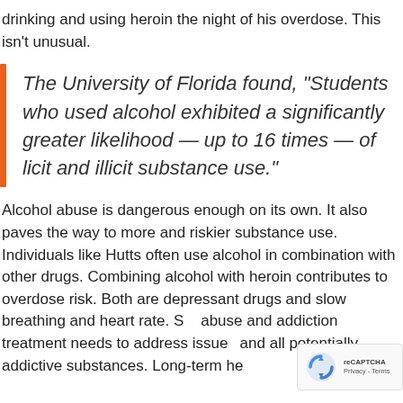drinking and using heroin the night of his overdose. This isn't unusual.
The University of Florida found, “Students who used alcohol exhibited a significantly greater likelihood — up to 16 times — of licit and illicit substance use.”
Alcohol abuse is dangerous enough on its own. It also paves the way to more and riskier substance use. Individuals like Hutts often use alcohol in combination with other drugs. Combining alcohol with heroin contributes to overdose risk. Both are depressant drugs and slow breathing and heart rate. S... abuse and addiction treatment needs to address issue... and all potentially addictive substances. Long-term he...